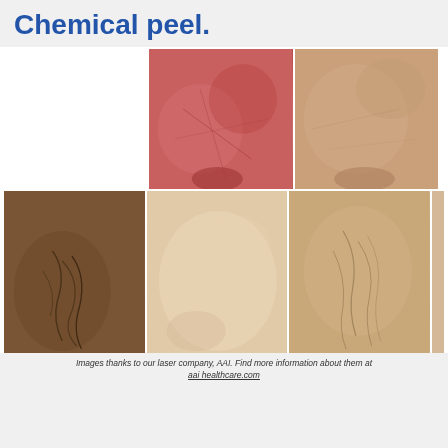Chemical peel.
[Figure (photo): Grid of 7 medical before/after photos related to chemical peel treatment. Top row: blank space on left, two close-up photos of facial skin (reddened/textured skin before and smoother skin after). Bottom row: four photos of leg skin showing spider veins before and after treatment.]
Images thanks to our laser company, AAI. Find more information about them at aai healthcare.com